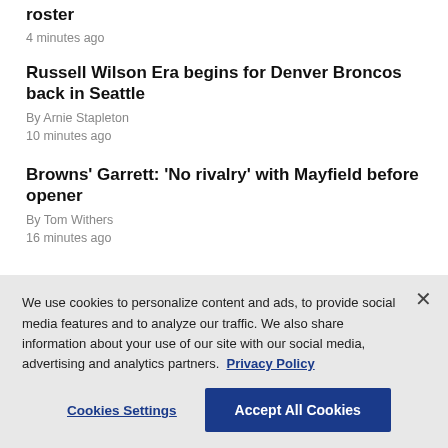roster
4 minutes ago
Russell Wilson Era begins for Denver Broncos back in Seattle
By Arnie Stapleton
10 minutes ago
Browns' Garrett: 'No rivalry' with Mayfield before opener
By Tom Withers
16 minutes ago
We use cookies to personalize content and ads, to provide social media features and to analyze our traffic. We also share information about your use of our site with our social media, advertising and analytics partners. Privacy Policy
Cookies Settings
Accept All Cookies